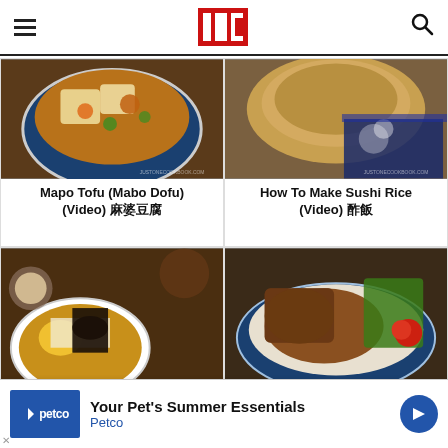JOC - Just One Cookbook
[Figure (photo): Mapo Tofu dish in a blue and white ceramic bowl on a wooden table]
Mapo Tofu (Mabo Dofu) (Video) 麻婆豆腐
[Figure (photo): Wooden sushi rice container with blue Japanese fabric on a table]
How To Make Sushi Rice (Video) 酢飯
[Figure (photo): Ramen bowl with corn, bean sprouts, nori, and a soft boiled egg]
[Figure (photo): Teriyaki chicken on a blue and white plate with green salad and tomato]
[Figure (infographic): Petco advertisement banner: Your Pet's Summer Essentials - Petco]